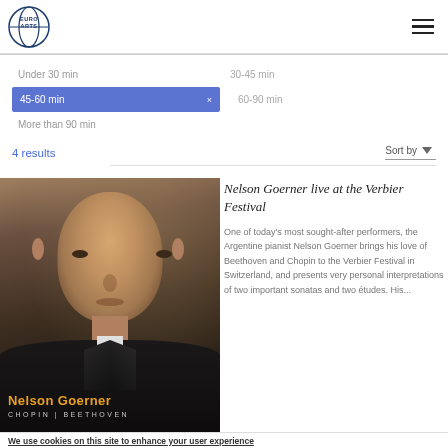EuroArts
Under 30 min
30-45 min
45-60 min [selected]
60-90 min
More than 90 min
4 results
Sort by
Nelson Goerner live at the Verbier Festival
One of today's most sought-after performers, the Argentine pianist Nelson Goerner brings his love of Beethoven and Chopin to the Verbier Festival in Switzerland, and presents very personal interpretations of two important sonatas and two études. His...
[Figure (photo): Album cover photo of Nelson Goerner, a pianist in a tuxedo with bowtie, with text: Nelson Goerner, CHOPIN | BEETHOVEN]
We use cookies on this site to enhance your user experience